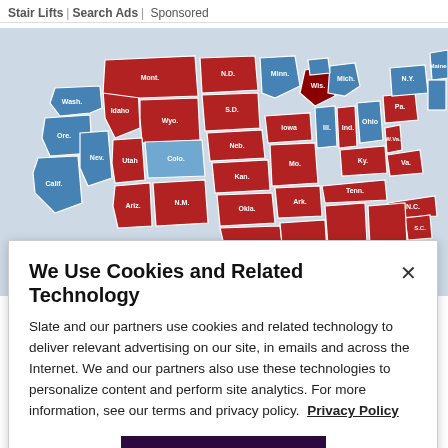Stair Lifts | Search Ads | Sponsored
[Figure (map): US electoral map showing states colored red (Republican) and blue (Democrat). Red states include Montana, Wyoming, Idaho, North Dakota, South Dakota, Nebraska, Kansas, Oklahoma, Missouri, Arkansas, Iowa, Tennessee, Kentucky, West Virginia, Virginia, North Carolina, South Carolina, Alabama, Mississippi, Louisiana, Texas, Utah, Arizona. Blue states include Washington, Oregon, California, Colorado, New Mexico, Minnesota, Michigan, Illinois, Indiana, Ohio, Pennsylvania, New York, Connecticut, Maine and others.]
We Use Cookies and Related Technology
Slate and our partners use cookies and related technology to deliver relevant advertising on our site, in emails and across the Internet. We and our partners also use these technologies to personalize content and perform site analytics. For more information, see our terms and privacy policy.  Privacy Policy